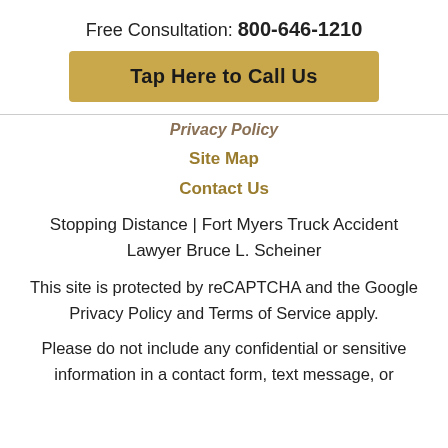Free Consultation: 800-646-1210
Tap Here to Call Us
Privacy Policy
Site Map
Contact Us
Stopping Distance | Fort Myers Truck Accident Lawyer Bruce L. Scheiner
This site is protected by reCAPTCHA and the Google Privacy Policy and Terms of Service apply.
Please do not include any confidential or sensitive information in a contact form, text message, or